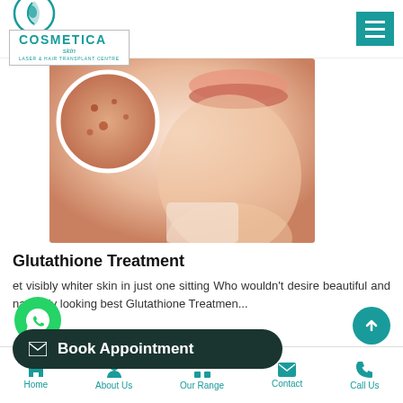[Figure (logo): Cosmetica Skin Laser & Hair Transplant Centre logo with teal circular icon and text]
[Figure (photo): Close-up photo of woman's face showing skin with acne/blemishes beside magnifying circle overlay, skin treatment imagery]
Glutathione Treatment
et visibly whiter skin in just one sitting Who wouldn't desire beautiful and naturally looking best Glutathione Treatmen...
[Figure (other): WhatsApp floating button (green circle with WhatsApp icon)]
[Figure (other): Book Appointment dark pill-shaped button with envelope icon]
[Figure (other): Scroll to top teal circular button with up arrow]
Home  About Us  Our Range  Contact  Call Us